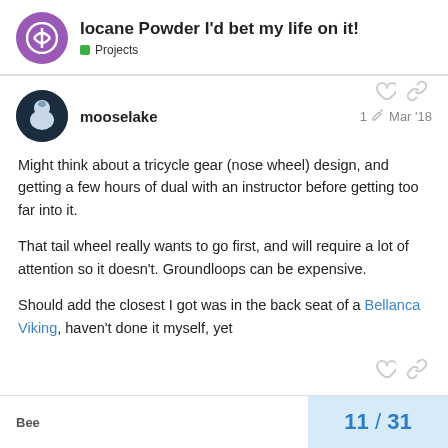Iocane Powder I'd bet my life on it! — Projects
Might think about a tricycle gear (nose wheel) design, and getting a few hours of dual with an instructor before getting too far into it.

That tail wheel really wants to go first, and will require a lot of attention so it doesn't. Groundloops can be expensive.

Should add the closest I got was in the back seat of a Bellanca Viking, haven't done it myself, yet
Bee  11 / 31